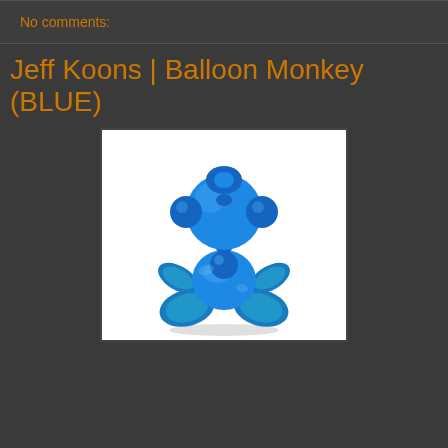No comments:
Jeff Koons | Balloon Monkey (BLUE)
[Figure (photo): A blue metallic balloon monkey sculpture by Jeff Koons, shown in a seated/meditating pose against a white background. The sculpture has a shiny, reflective chrome-like blue surface formed from twisted balloon shapes making up a head, body, and limbs.]